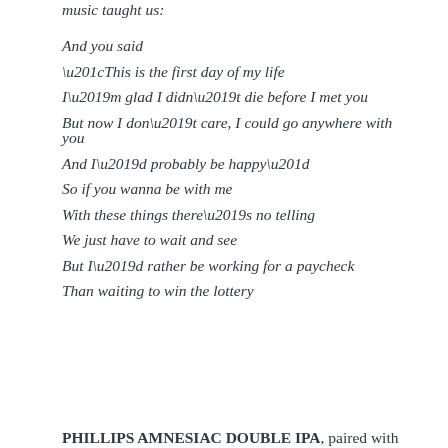music taught us:
And you said
“This is the first day of my life
I’m glad I didn’t die before I met you
But now I don’t care, I could go anywhere with you
And I’d probably be happy”
So if you wanna be with me
With these things there’s no telling
We just have to wait and see
But I’d rather be working for a paycheck
Than waiting to win the lottery
PHILLIPS AMNESIAC DOUBLE IPA, paired with